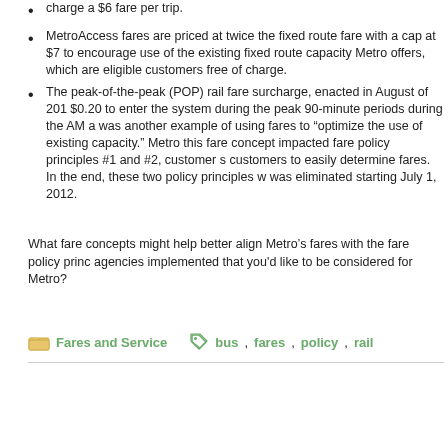charge a $6 fare per trip.
MetroAccess fares are priced at twice the fixed route fare with a cap at $7 to encourage use of the existing fixed route capacity Metro offers, which are eligible customers free of charge.
The peak-of-the-peak (POP) rail fare surcharge, enacted in August of 2011, $0.20 to enter the system during the peak 90-minute periods during the AM and was another example of using fares to “optimize the use of existing capacity.” Metro this fare concept impacted fare policy principles #1 and #2, customer s customers to easily determine fares. In the end, these two policy principles w was eliminated starting July 1, 2012.
What fare concepts might help better align Metro’s fares with the fare policy principles? Are there fare concepts other agencies implemented that you’d like to be considered for Metro?
Fares and Service   bus, fares, policy, rail